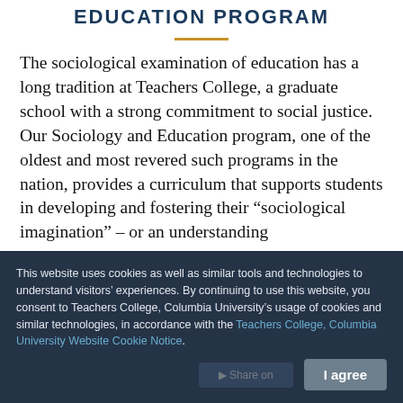EDUCATION PROGRAM
The sociological examination of education has a long tradition at Teachers College, a graduate school with a strong commitment to social justice. Our Sociology and Education program, one of the oldest and most revered such programs in the nation, provides a curriculum that supports students in developing and fostering their “sociological imagination” – or an understanding
This website uses cookies as well as similar tools and technologies to understand visitors’ experiences. By continuing to use this website, you consent to Teachers College, Columbia University’s usage of cookies and similar technologies, in accordance with the Teachers College, Columbia University Website Cookie Notice.